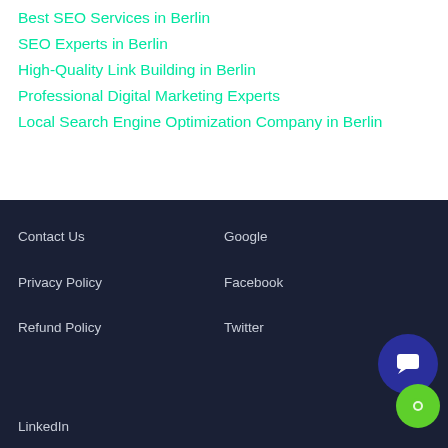Best SEO Services in Berlin
SEO Experts in Berlin
High-Quality Link Building in Berlin
Professional Digital Marketing Experts
Local Search Engine Optimization Company in Berlin
Contact Us
Google
Privacy Policy
Facebook
Refund Policy
Twitter
LinkedIn